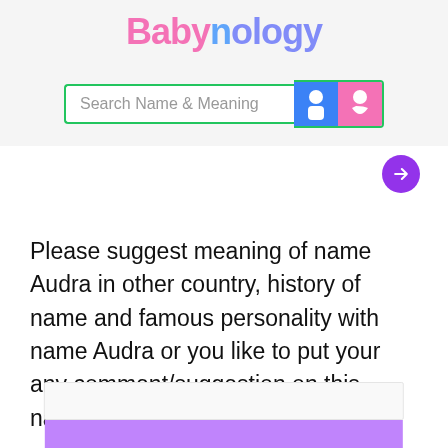Babynology
[Figure (screenshot): Search bar with text 'Search Name & Meaning', a blue boy icon button and a pink girl icon button, with a green border. A purple arrow button is to the right.]
Please suggest meaning of name Audra in other country, history of name and famous personality with name Audra or you like to put your any comment/suggestion on this name for other visitors.